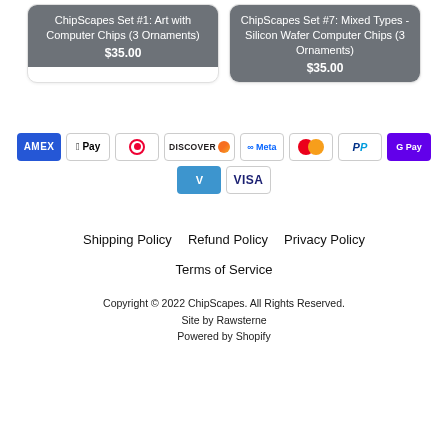[Figure (screenshot): Product card: ChipScapes Set #1: Art with Computer Chips (3 Ornaments) $35.00]
[Figure (screenshot): Product card: ChipScapes Set #7: Mixed Types - Silicon Wafer Computer Chips (3 Ornaments) $35.00]
[Figure (infographic): Payment method badges: AMEX, Apple Pay, Diners Club, Discover, Meta Pay, Mastercard, PayPal, G Pay, Venmo, Visa]
Shipping Policy   Refund Policy   Privacy Policy
Terms of Service

Copyright © 2022 ChipScapes. All Rights Reserved.
Site by Rawsterne
Powered by Shopify